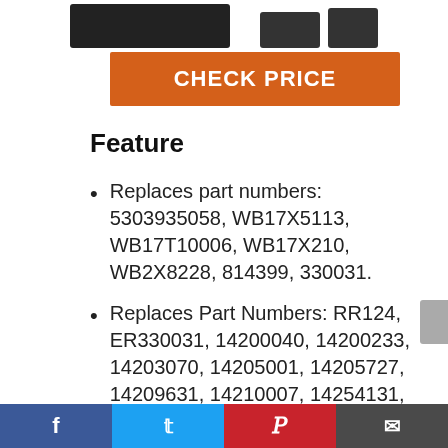[Figure (photo): Product images of black hardware parts at the top of the page]
CHECK PRICE
Feature
Replaces part numbers: 5303935058, WB17X5113, WB17T10006, WB17X210, WB2X8228, 814399, 330031.
Replaces Part Numbers: RR124, ER330031, 14200040, 14200233, 14203070, 14205001, 14205727, 14209631, 14210007, 14254131, 3274, 42147, 42153, 4335480
Facebook | Twitter | Pinterest | Email